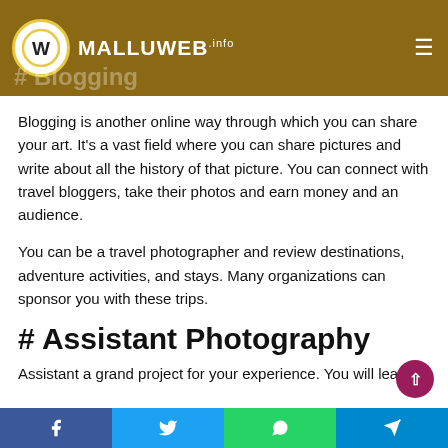MALLUWEB.INFO — #Blogging
Blogging is another online way through which you can share your art. It's a vast field where you can share pictures and write about all the history of that picture. You can connect with travel bloggers, take their photos and earn money and an audience.
You can be a travel photographer and review destinations, adventure activities, and stays. Many organizations can sponsor you with these trips.
# Assistant Photography
Assistant a grand project for your experience. You will learn
Facebook | Twitter | WhatsApp | Telegram